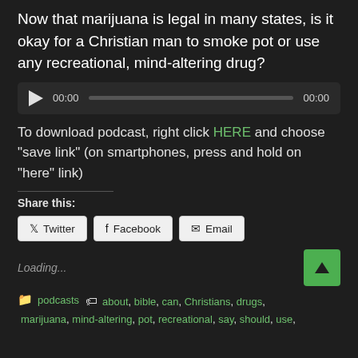Now that marijuana is legal in many states, is it okay for a Christian man to smoke pot or use any recreational, mind-altering drug?
[Figure (other): Audio player widget with play button, time display showing 00:00, progress bar, and end time 00:00]
To download podcast, right click HERE and choose “save link” (on smartphones, press and hold on “here” link)
Share this:
Twitter  Facebook  Email
Loading...
podcasts  about, bible, can, Christians, drugs, marijuana, mind-altering, pot, recreational, say, should, use,